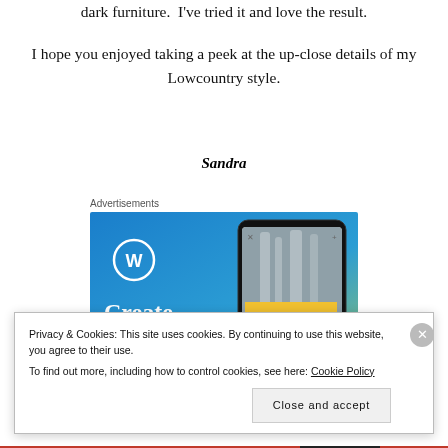dark furniture. I've tried it and love the result.
I hope you enjoyed taking a peek at the up-close details of my Lowcountry style.
Sandra
Advertisements
[Figure (screenshot): WordPress advertisement showing a smartphone with 'VISITING SKOGAFOSS' on screen and text 'Create immersive' on a blue/green gradient background with WordPress logo]
Privacy & Cookies: This site uses cookies. By continuing to use this website, you agree to their use.
To find out more, including how to control cookies, see here: Cookie Policy
Close and accept